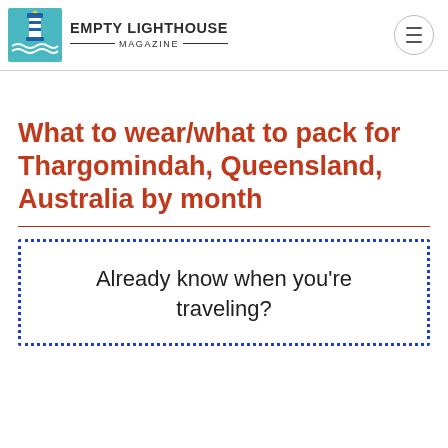EMPTY LIGHTHOUSE MAGAZINE
What to wear/what to pack for Thargomindah, Queensland, Australia by month
Already know when you're traveling?